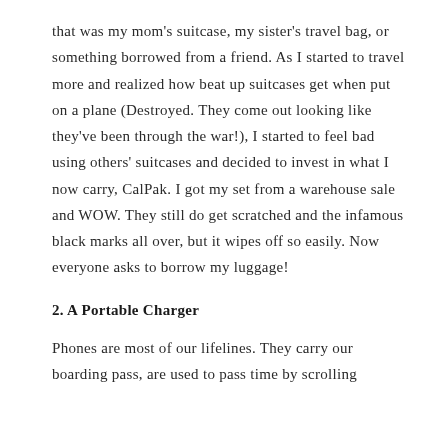that was my mom's suitcase, my sister's travel bag, or something borrowed from a friend. As I started to travel more and realized how beat up suitcases get when put on a plane (Destroyed. They come out looking like they've been through the war!), I started to feel bad using others' suitcases and decided to invest in what I now carry, CalPak. I got my set from a warehouse sale and WOW. They still do get scratched and the infamous black marks all over, but it wipes off so easily. Now everyone asks to borrow my luggage!
2. A Portable Charger
Phones are most of our lifelines. They carry our boarding pass, are used to pass time by scrolling